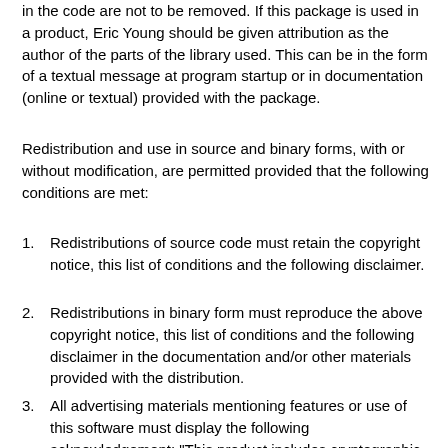in the code are not to be removed. If this package is used in a product, Eric Young should be given attribution as the author of the parts of the library used. This can be in the form of a textual message at program startup or in documentation (online or textual) provided with the package.
Redistribution and use in source and binary forms, with or without modification, are permitted provided that the following conditions are met:
1. Redistributions of source code must retain the copyright notice, this list of conditions and the following disclaimer.
2. Redistributions in binary form must reproduce the above copyright notice, this list of conditions and the following disclaimer in the documentation and/or other materials provided with the distribution.
3. All advertising materials mentioning features or use of this software must display the following acknowledgement: "This product includes cryptographic software written by Eric Young (eay@cryptsoft.com)" The word 'cryptographic' can be left out if the routines from the library being used are not cryptographic